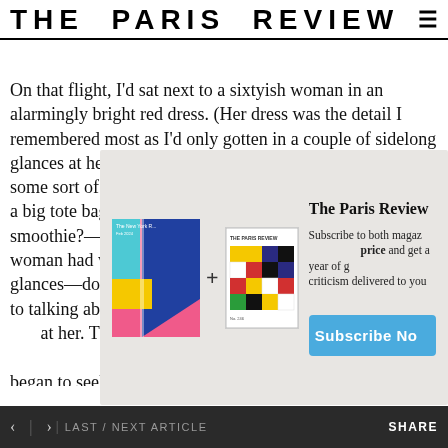THE PARIS REVIEW
On that flight, I'd sat next to a sixtyish woman in an alarmingly bright red dress. (Her dress was the detail I remembered most as I'd only gotten in a couple of sidelong glances at her, but I also noted her frizzy chest-length hair, some sort of elaborate necklace down to her sternum, a big tote bag that she kept sipping from—a soda? a smoothie?—stuffed into the bags above.) Later this same woman had walked past—again I'd only had sidelong glances—down at LaGuardia—and we'd somehow gotten to talking about where we were each going—and now I looked at her. The same alarmingly bright red dress, the same frizzy hair, same square silver earrings, same nose. I began to seek the right
[Figure (screenshot): Subscription modal overlay with magazine covers (The New Yorker and The Paris Review) plus sign between them, promotional text 'The Paris Review' heading, 'Subscribe to both magazines at one price and get a year of great fiction and criticism delivered to your door.' and a blue 'Subscribe Now' button]
< > LAST / NEXT ARTICLE    SHARE